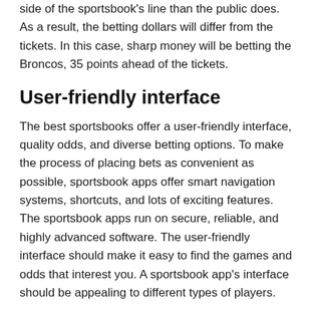side of the sportsbook's line than the public does. As a result, the betting dollars will differ from the tickets. In this case, sharp money will be betting the Broncos, 35 points ahead of the tickets.
User-friendly interface
The best sportsbooks offer a user-friendly interface, quality odds, and diverse betting options. To make the process of placing bets as convenient as possible, sportsbook apps offer smart navigation systems, shortcuts, and lots of exciting features. The sportsbook apps run on secure, reliable, and highly advanced software. The user-friendly interface should make it easy to find the games and odds that interest you. A sportsbook app's interface should be appealing to different types of players.
Reputation of sportsbook operator
Before deciding to make a deposit at a sportsbook, it's